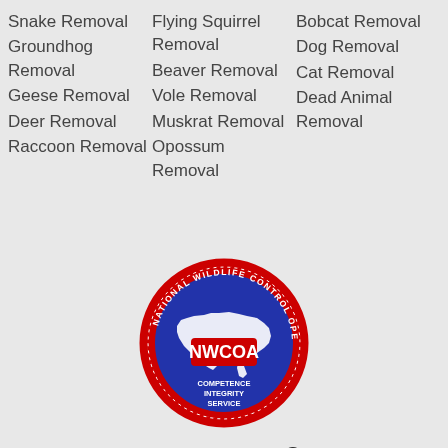Snake Removal
Groundhog Removal
Geese Removal
Deer Removal
Raccoon Removal
Flying Squirrel Removal
Beaver Removal
Vole Removal
Muskrat Removal
Opossum Removal
Bobcat Removal
Dog Removal
Cat Removal
Dead Animal Removal
[Figure (logo): NWCOA - National Wildlife Control Operators Association badge. Blue circular badge with red 'NWCOA' text, map of USA, and text 'COMPETENCE INTEGRITY SERVICE']
[Figure (logo): VWDMA - Virginia Wildlife Damage Management Association logo with blue Virginia state silhouette and animals]
[Figure (logo): CLAA logo partially visible at bottom - blue house shape with green checkmark]